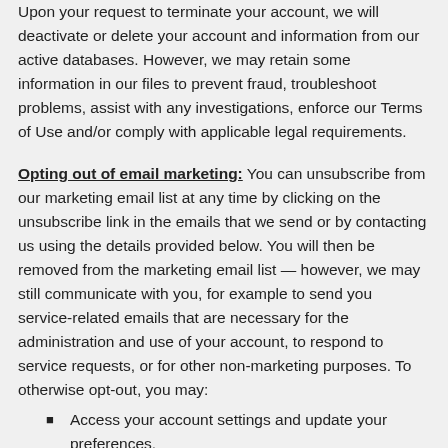Upon your request to terminate your account, we will deactivate or delete your account and information from our active databases. However, we may retain some information in our files to prevent fraud, troubleshoot problems, assist with any investigations, enforce our Terms of Use and/or comply with applicable legal requirements.
Opting out of email marketing: You can unsubscribe from our marketing email list at any time by clicking on the unsubscribe link in the emails that we send or by contacting us using the details provided below. You will then be removed from the marketing email list — however, we may still communicate with you, for example to send you service-related emails that are necessary for the administration and use of your account, to respond to service requests, or for other non-marketing purposes. To otherwise opt-out, you may:
Access your account settings and update your preferences.